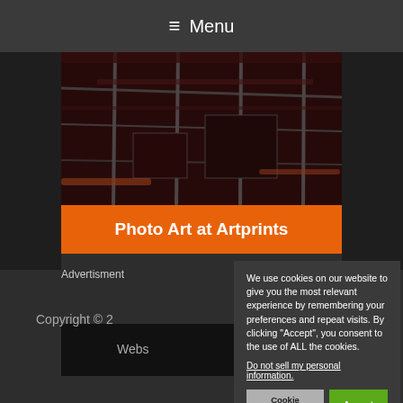≡ Menu
[Figure (photo): Industrial/machinery photo with dark red-orange tones showing railings and equipment]
Photo Art at Artprints
Advertisment
We use cookies on our website to give you the most relevant experience by remembering your preferences and repeat visits. By clicking "Accept", you consent to the use of ALL the cookies.
Do not sell my personal information.
Cookie Settings
Accept
Privacy Policy
Copyright © 2
Webs